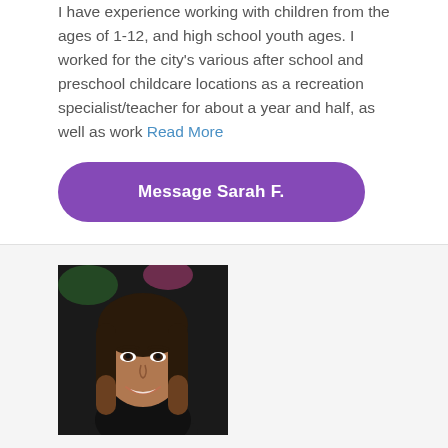I have experience working with children from the ages of 1-12, and high school youth ages. I worked for the city's various after school and preschool childcare locations as a recreation specialist/teacher for about a year and half, as well as work Read More
Message Sarah F.
[Figure (photo): Headshot photo of Aysia G., a young woman with long brown ombre hair, smiling, with a dark background.]
Aysia G.